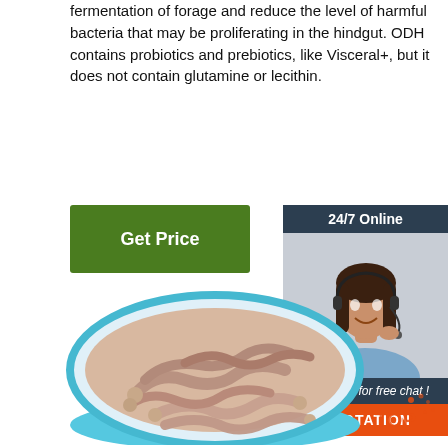fermentation of forage and reduce the level of harmful bacteria that may be proliferating in the hindgut. ODH contains probiotics and prebiotics, like Visceral+, but it does not contain glutamine or lecithin.
[Figure (other): Green 'Get Price' button]
[Figure (other): 24/7 Online chat box with woman wearing headset, 'Click here for free chat!' text, and orange QUOTATION button]
[Figure (photo): Photo of earthworms/intestines in a blue bowl]
[Figure (logo): TOP logo watermark in bottom right corner]